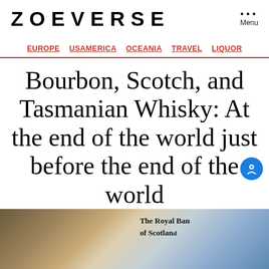ZOEVERSE   Menu
EUROPE  USAMERICA  OCEANIA  TRAVEL  LIQUOR
Bourbon, Scotch, and Tasmanian Whisky: At the end of the world just before the end of the world
By Zoe   October 8, 2021   No Comments
[Figure (photo): Partial photo of The Royal Bank of Scotland currency/document visible at bottom of page]